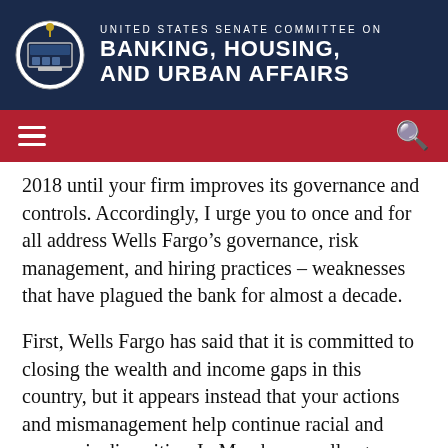UNITED STATES SENATE COMMITTEE ON BANKING, HOUSING, AND URBAN AFFAIRS
2018 until your firm improves its governance and controls. Accordingly, I urge you to once and for all address Wells Fargo’s governance, risk management, and hiring practices – weaknesses that have plagued the bank for almost a decade.
First, Wells Fargo has said that it is committed to closing the wealth and income gaps in this country, but it appears instead that your actions and mismanagement help continue racial and economic disparities. In March, my colleagues and I raised concerns about whether Wells Fargo’s practices fi…